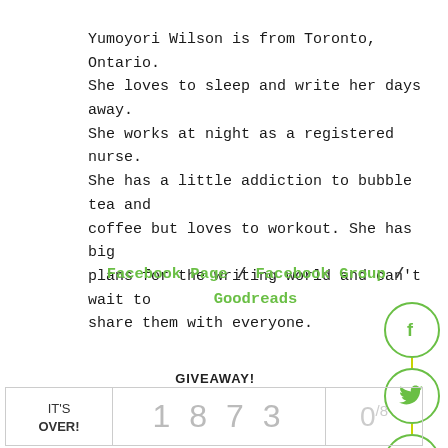Yumoyori Wilson is from Toronto, Ontario. She loves to sleep and write her days away. She works at night as a registered nurse. She has a little addiction to bubble tea and coffee but loves to workout. She has big plans for the writing world and can't wait to share them with everyone.
Facebook Page / Facebook Group / Goodreads
[Figure (illustration): Social media share buttons on right side: Facebook (f), Twitter (bird), Pinterest (P), Tumblr (t), StumbleUpon (su) — green outlined circles stacked vertically]
GIVEAWAY!
| IT'S OVER! | 1 8 7 3 | 0/8 |